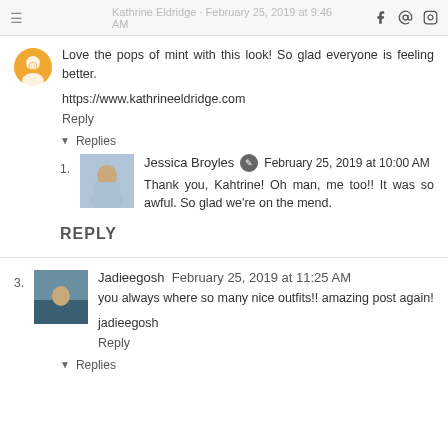Kathrine Eldridge · February 25, 2019 at 9:46 AM
[Figure (illustration): Circular avatar icon with orange background]
Love the pops of mint with this look! So glad everyone is feeling better.
https://www.kathrineeldridge.com
Reply
▼ Replies
[Figure (photo): Small profile photo thumbnail of Jessica Broyles]
Jessica Broyles ✎ February 25, 2019 at 10:00 AM
Thank you, Kahtrine! Oh man, me too!! It was so awful. So glad we're on the mend.
REPLY
[Figure (photo): Small profile photo thumbnail of Jadieegosh]
Jadieegosh   February 25, 2019 at 11:25 AM
you always where so many nice outfits!! amazing post again!
jadieegosh
Reply
▼ Replies